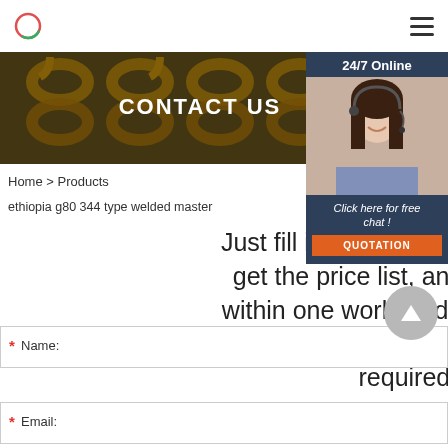Logo | Hamburger menu
[Figure (photo): Hero banner image with yellow industrial chains and hooks, overlaid with CONTACT US title text]
[Figure (infographic): 24/7 Online chat widget with a photo of a woman with headset, 'Click here for free chat!' text, and QUOTATION button]
Home > Products
ethiopia g80 344 type welded master
Just fill in the form below, click sub get the price list, and we will con within one working day. Please als to contact us via email or phone. (* is required).
* Name:
* Email: